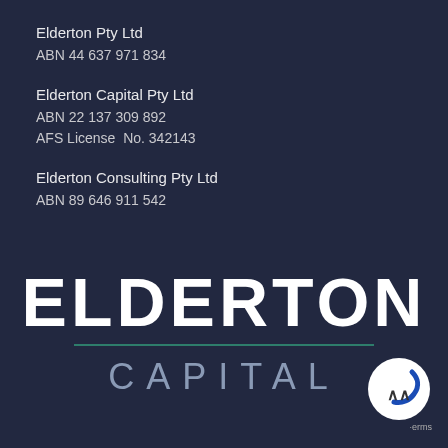Elderton Pty Ltd
ABN 44 637 971 834
Elderton Capital Pty Ltd
ABN 22 137 309 892
AFS License  No. 342143
Elderton Consulting Pty Ltd
ABN 89 646 911 542
[Figure (logo): Elderton Capital logo with large bold white 'ELDERTON' text, a teal horizontal divider line, and lighter grey 'CAPITAL' text in spaced capitals below]